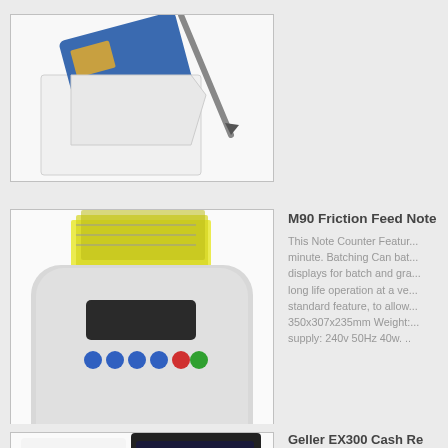[Figure (photo): Product photo: a credit card and pen on white envelope, partially visible at top of page]
[Figure (photo): Product photo: M90 Friction Feed Note Counter machine, white/beige color with blue and colored buttons on top, currency notes visible in feed]
M90 Friction Feed Note
This Note Counter Featur... minute. Batching Can bat... displays for batch and gra... long life operation at a ve... standard feature, to allow... 350x307x235mm Weight:... supply: 240v 50Hz 40w. ..
[Figure (photo): Product photo: Geller EX300 Cash Register, black device with display showing 2499, partially visible]
Geller EX300 Cash Re
Combining exceptional f...